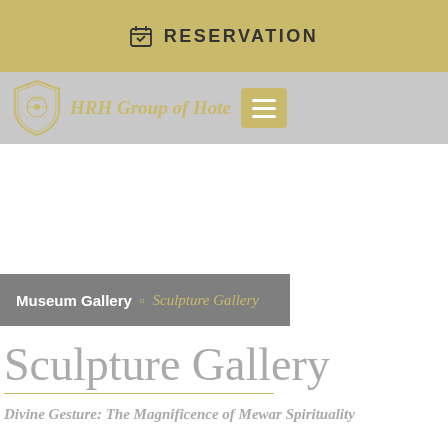RESERVATION
[Figure (logo): HRH Group of Hotels logo with shield emblem and navigation menu button]
Museum Gallery > Sculpture Gallery
Sculpture Gallery
Divine Gesture: The Magnificence of Mewar Spirituality